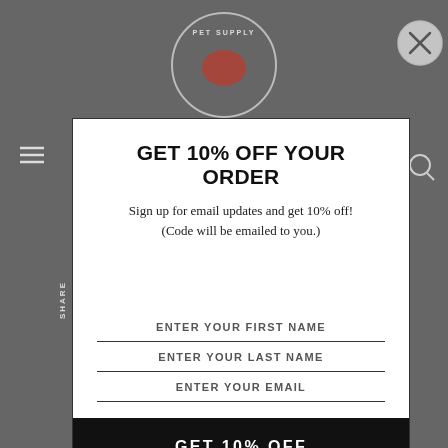[Figure (screenshot): Website background showing Pet Supply store with logo, navigation, and product listings, overlaid with a semi-transparent dark layer]
GET 10% OFF YOUR ORDER
Sign up for email updates and get 10% off! (Code will be emailed to you.)
ENTER YOUR FIRST NAME
ENTER YOUR LAST NAME
ENTER YOUR EMAIL
GET 10% OFF